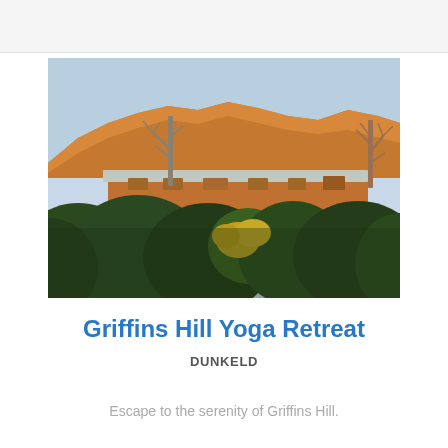[Figure (photo): Outdoor photo of Griffins Hill Yoga Retreat building with lush green and yellow shrubs in foreground and dramatic golden-orange mountain ridge in background at sunset or golden hour, with bare trees on left and right sides.]
Griffins Hill Yoga Retreat
DUNKELD
Escape to the serenity of Griffins Hill.